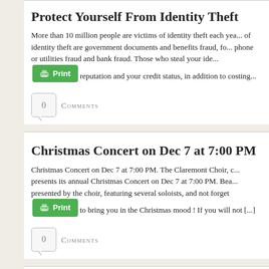Protect Yourself From Identity Theft
More than 10 million people are victims of identity theft each year... of identity theft are government documents and benefits fraud, fo... phone or utilities fraud and bank fraud. Those who steal your ide... reputation and your credit status, in addition to costing...
[Figure (other): Green Print button]
0 Comments
Christmas Concert on Dec 7 at 7:00 PM
Christmas Concert on Dec 7 at 7:00 PM. The Claremont Choir, c... presents its annual Christmas Concert on Dec 7 at 7:00 PM. Bea... presented by the choir, featuring several soloists, and not forget... to bring you in the Christmas mood ! If you will not [...
[Figure (other): Green Print button]
0 Comments
Veteran's Day Choir performance
Another memorable performance of the Claremont Choir, witnes...